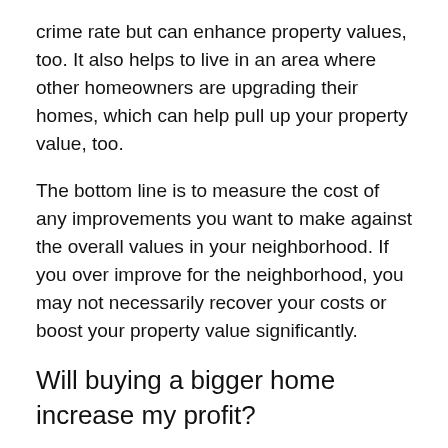crime rate but can enhance property values, too. It also helps to live in an area where other homeowners are upgrading their homes, which can help pull up your property value, too.
The bottom line is to measure the cost of any improvements you want to make against the overall values in your neighborhood. If you over improve for the neighborhood, you may not necessarily recover your costs or boost your property value significantly.
Will buying a bigger home increase my profit?
Consider these questions before making a choice between adding on to an existing home or moving up in the market to a bigger house:
How much money is available, either from cash